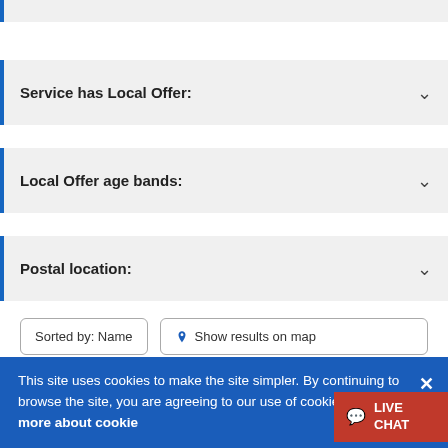Service has Local Offer:
Local Offer age bands:
Postal location:
Sorted by: Name
Show results on map
+ Add all to Shortlist
This site uses cookies to make the site simpler. By continuing to browse the site, you are agreeing to our use of cookies. Find out more about cookies